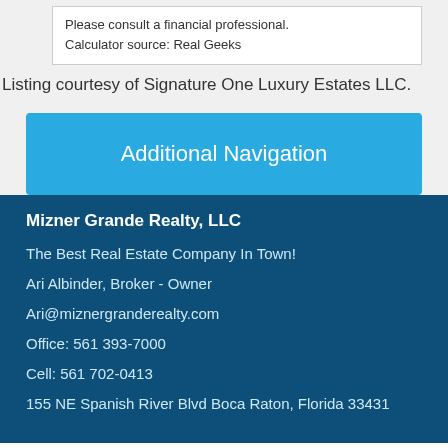Please consult a financial professional.
Calculator source: Real Geeks
Listing courtesy of Signature One Luxury Estates LLC.
Additional Navigation
Mizner Grande Realty, LLC
The Best Real Estate Company In Town!
Ari Albinder, Broker - Owner
Ari@miznergranderealty.com
Office: 561 393-7000
Cell: 561 702-0413
155 NE Spanish River Blvd Boca Raton, Florida 33431